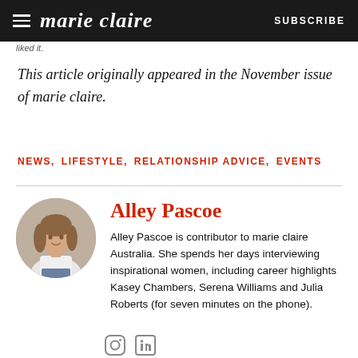marie claire | SUBSCRIBE
liked it.
This article originally appeared in the November issue of marie claire.
NEWS,   LIFESTYLE,   RELATIONSHIP ADVICE,   EVENTS
Alley Pascoe
Alley Pascoe is contributor to marie claire Australia. She spends her days interviewing inspirational women, including career highlights Kasey Chambers, Serena Williams and Julia Roberts (for seven minutes on the phone).